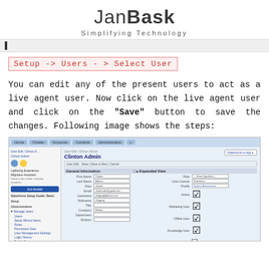JanBask Simplifying Technology
Setup -> Users - > Select User
You can edit any of the present users to act as a live agent user. Now click on the live agent user and click on the "Save" button to save the changes. Following image shows the steps:
[Figure (screenshot): Salesforce User Edit page showing the Clinton Admin user profile. The left sidebar shows Lightning Experience Migration Assistant and navigation links including Manage Users. The main area shows a User Edit form with fields for name, email, username, and other user settings. The Live Agent User checkbox appears to be checked/highlighted in yellow.]